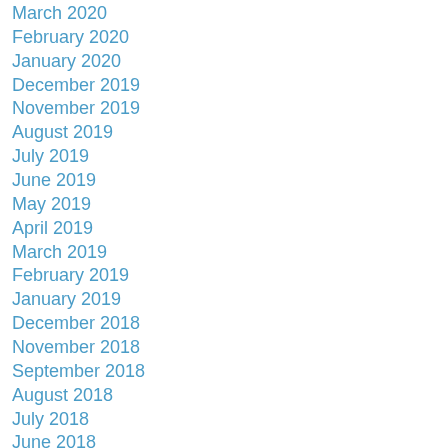March 2020
February 2020
January 2020
December 2019
November 2019
August 2019
July 2019
June 2019
May 2019
April 2019
March 2019
February 2019
January 2019
December 2018
November 2018
September 2018
August 2018
July 2018
June 2018
May 2018
April 2018